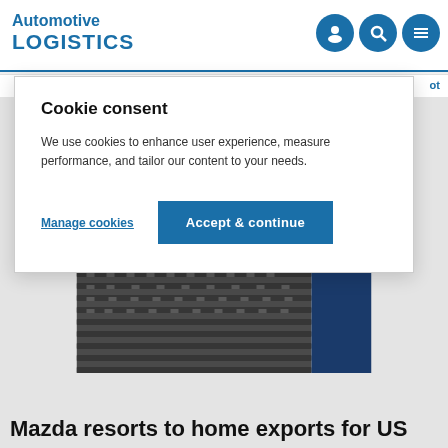Automotive LOGISTICS
Cookie consent
We use cookies to enhance user experience, measure performance, and tailor our content to your needs.
Manage cookies   Accept & continue
[Figure (photo): Aerial view of rows of cars packed closely together in a large parking or storage area, with a dark blue rectangle in the upper right portion of the image.]
Mazda resorts to home exports for US